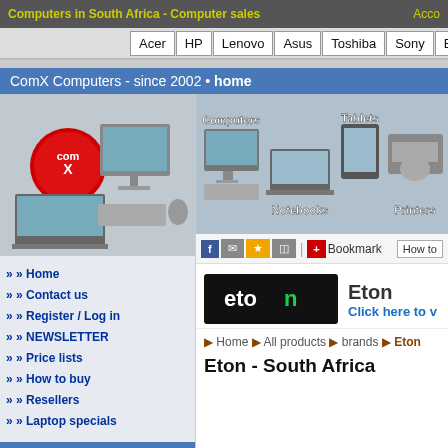Computers in South Africa - Computer sales
Acer
HP
Lenovo
Asus
Toshiba
Sony
Brands..
Cat
ComX Computers - since 2002 • home
[Figure (photo): ComX Computers logo with desktop and laptop computers]
[Figure (photo): Product category banner showing Computers, Tablets, Notebooks, Printers]
» Home
» Contact us
» Register / Log in
» NEWSLETTER
» Price lists
» How to buy
» Resellers
» Laptop specials
[Figure (logo): Eton brand logo in black box with white text]
Eton
Click here to v
▶ Home ▶ All products ▶ brands ▶ Eton
Eton - South Africa
New products [+]